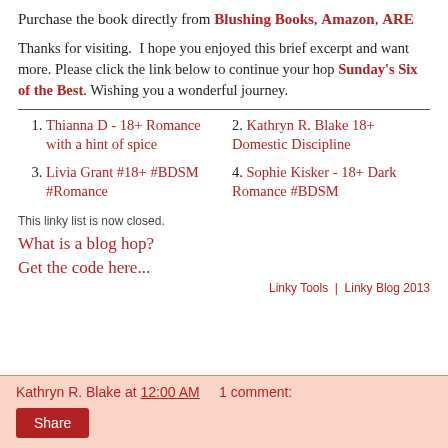Purchase the book directly from Blushing Books, Amazon, ARE
Thanks for visiting. I hope you enjoyed this brief excerpt and want more. Please click the link below to continue your hop Sunday's Six of the Best. Wishing you a wonderful journey.
1. Thianna D - 18+ Romance with a hint of spice
2. Kathryn R. Blake 18+ Domestic Discipline
3. Livia Grant #18+ #BDSM #Romance
4. Sophie Kisker - 18+ Dark Romance #BDSM
This linky list is now closed.
What is a blog hop?
Get the code here...
Linky Tools | Linky Blog 2013
Kathryn R. Blake at 12:00 AM    1 comment: